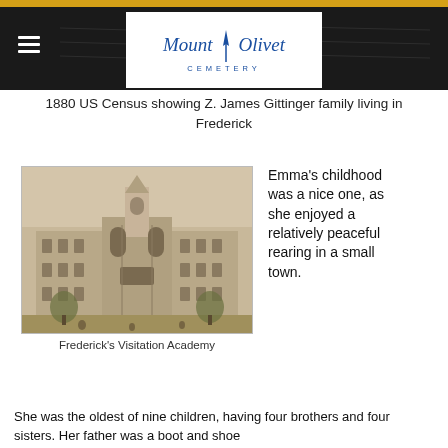Mount Olivet Cemetery
1880 US Census showing Z. James Gittinger family living in Frederick
[Figure (photo): Black and white historical illustration of Frederick's Visitation Academy, a large multi-story building with a central chapel tower.]
Frederick's Visitation Academy
Emma’s childhood was a nice one, as she enjoyed a relatively peaceful rearing in a small town. She was the oldest of nine children, having four brothers and four sisters. Her father was a boot and shoe